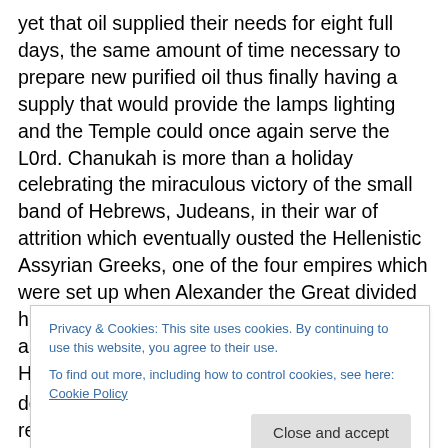yet that oil supplied their needs for eight full days, the same amount of time necessary to prepare new purified oil thus finally having a supply that would provide the lamps lighting and the Temple could once again serve the L0rd. Chanukah is more than a holiday celebrating the miraculous victory of the small band of Hebrews, Judeans, in their war of attrition which eventually ousted the Hellenistic Assyrian Greeks, one of the four empires which were set up when Alexander the Great divided his entire empire between four of his most loyal and finest generals upon his death. The Hellenistic culture worshiped the
Privacy & Cookies: This site uses cookies. By continuing to use this website, you agree to their use.
To find out more, including how to control cookies, see here: Cookie Policy
detracting from his perfection. Many Jews remained